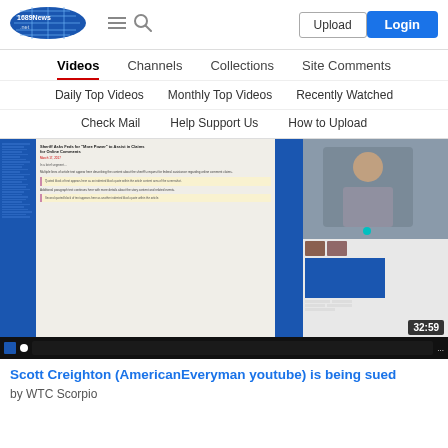1689news.net — Upload | Login navigation header
Videos | Channels | Collections | Site Comments
Daily Top Videos | Monthly Top Videos | Recently Watched
Check Mail | Help Support Us | How to Upload
[Figure (screenshot): Video thumbnail showing a split-screen: blue sidebar on left, a news article in center about 'Sheriff Asks Feds for More Power to Arrest in Claims for Online Comments', a blue divider, and on right a webcam view of a man at a desk plus a screen recording. Duration badge shows 32:59. Taskbar visible at bottom.]
Scott Creighton (AmericanEveryman youtube) is being sued
by WTC Scorpio